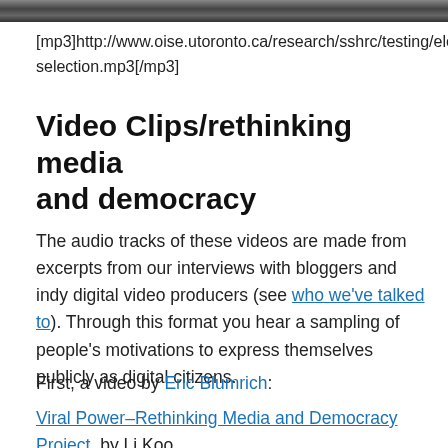[Figure (photo): Partial photo strip at top of page showing dark blurred images]
[mp3]http://www.oise.utoronto.ca/research/sshrc/testing/electionselection.mp3[/mp3]
Video Clips/rethinking media and democracy
The audio tracks of these videos are made from excerpts from our interviews with bloggers and indy digital video producers (see who we've talked to). Through this format you hear a sampling of people's motivations to express themselves publicly as digital citizens.
First, a video by Eric Blumrich:
Viral Power–Rethinking Media and Democracy Project, by Li Koo